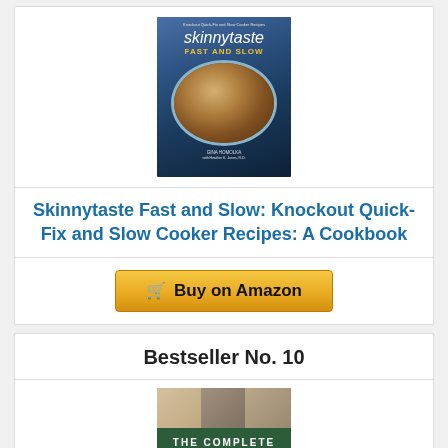[Figure (photo): Book cover of Skinnytaste Fast and Slow: Knockout Quick-Fix and Slow Cooker Recipes: A Cookbook by Gina Homolka, showing a bowl of pasta dish]
Skinnytaste Fast and Slow: Knockout Quick-Fix and Slow Cooker Recipes: A Cookbook
Buy on Amazon
Bestseller No. 10
[Figure (photo): Book cover of The Complete cookbook, showing multiple food photos at top and green band with white text THE COMPLETE]